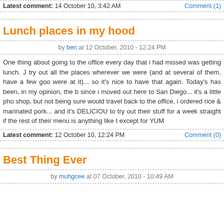Latest comment: 14 October 10, 3:42 AM   Comment (1)
Lunch places in my hood
by ben at 12 October, 2010 - 12:24 PM
One thing about going to the office every day that i had missed was getting lunch. J... try out all the places wherever we were (and at several of them, have a few goo... were at it)... so it's nice to have that again. Today's has been, in my opinion, the b... since i moved out here to San Diego... it's a little pho shop, but not being sure ... would travel back to the office, i ordered rice & marinated pork... and it's DELICIOU... to try out their stuff for a week straight if the rest of their menu is anything like t... except for YUM
Latest comment: 12 October 10, 12:24 PM   Comment (0)
Best Thing Ever
by muhgcee at 07 October, 2010 - 10:49 AM